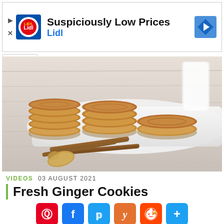[Figure (infographic): Lidl advertisement banner with Lidl logo, text 'Suspiciously Low Prices' and 'Lidl', navigation icon on right, play/close controls on left]
[Figure (photo): Stacked ginger cookies on a white plate with cinnamon sticks and fresh ginger root on a white wooden surface, glass of milk in background]
VIDEOS  03 AUGUST 2021
Fresh Ginger Cookies
[Figure (infographic): Social sharing buttons row: Pinterest, Facebook, Twitter, Yummly, Reddit, More]